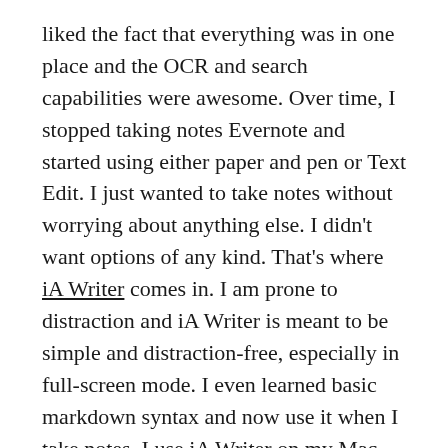liked the fact that everything was in one place and the OCR and search capabilities were awesome. Over time, I stopped taking notes Evernote and started using either paper and pen or Text Edit. I just wanted to take notes without worrying about anything else. I didn't want options of any kind. That's where iA Writer comes in. I am prone to distraction and iA Writer is meant to be simple and distraction-free, especially in full-screen mode. I even learned basic markdown syntax and now use it when I take notes. I use iA Writer on my Mac and iOS devices, all of which sync quickly and easily via iCloud or Dropbox.
I keep pretty much everything in Evernote. In